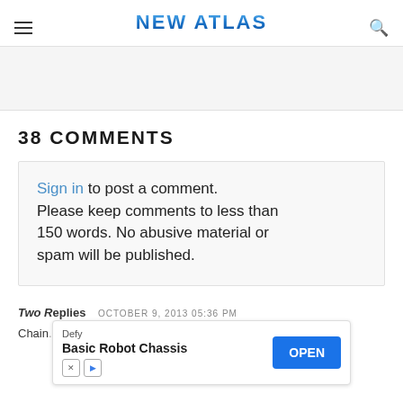NEW ATLAS
38 COMMENTS
Sign in to post a comment. Please keep comments to less than 150 words. No abusive material or spam will be published.
Two Replies   OCTOBER 9, 2013 05:36 PM
Chain... es the